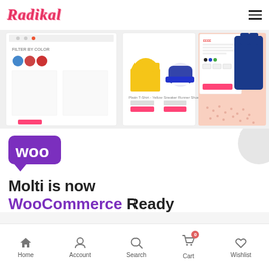[Figure (logo): Radikal brand logo in pink cursive italic font with hamburger menu icon]
[Figure (screenshot): E-commerce website screenshots showing product listings with filter by color panel, yellow t-shirt, blue sneakers, and blue jacket on pink background]
[Figure (logo): WooCommerce purple speech bubble logo with 'woo' text in white]
Molti is now WooCommerce Ready
The Molti Ecommerce provides you many stunning Design for your next Ecommerce site/Store with WooCommerce. With many
Home | Account | Search | Cart | Wishlist